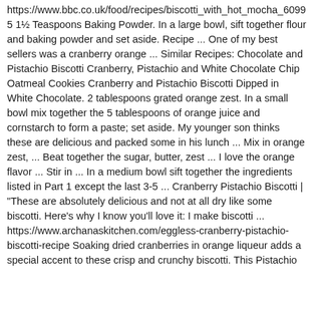https://www.bbc.co.uk/food/recipes/biscotti_with_hot_mocha_6099 5 1½ Teaspoons Baking Powder. In a large bowl, sift together flour and baking powder and set aside. Recipe ... One of my best sellers was a cranberry orange ... Similar Recipes: Chocolate and Pistachio Biscotti Cranberry, Pistachio and White Chocolate Chip Oatmeal Cookies Cranberry and Pistachio Biscotti Dipped in White Chocolate. 2 tablespoons grated orange zest. In a small bowl mix together the 5 tablespoons of orange juice and cornstarch to form a paste; set aside. My younger son thinks these are delicious and packed some in his lunch ... Mix in orange zest, ... Beat together the sugar, butter, zest ... I love the orange flavor ... Stir in ... In a medium bowl sift together the ingredients listed in Part 1 except the last 3-5 ... Cranberry Pistachio Biscotti | "These are absolutely delicious and not at all dry like some biscotti. Here's why I know you'll love it: I make biscotti ... https://www.archanaskitchen.com/eggless-cranberry-pistachio-biscotti-recipe Soaking dried cranberries in orange liqueur adds a special accent to these crisp and crunchy biscotti. This Pistachio